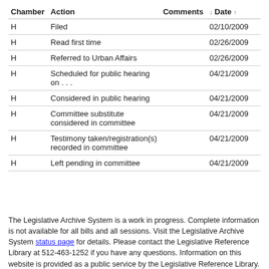| Chamber | Action | Comments | ↓ Date ↑ |
| --- | --- | --- | --- |
| H | Filed |  | 02/10/2009 |
| H | Read first time |  | 02/26/2009 |
| H | Referred to Urban Affairs |  | 02/26/2009 |
| H | Scheduled for public hearing on . . . |  | 04/21/2009 |
| H | Considered in public hearing |  | 04/21/2009 |
| H | Committee substitute considered in committee |  | 04/21/2009 |
| H | Testimony taken/registration(s) recorded in committee |  | 04/21/2009 |
| H | Left pending in committee |  | 04/21/2009 |
The Legislative Archive System is a work in progress. Complete information is not available for all bills and all sessions. Visit the Legislative Archive System status page for details. Please contact the Legislative Reference Library at 512-463-1252 if you have any questions. Information on this website is provided as a public service by the Legislative Reference Library. The Legislative Reference Library makes no representation as to its completeness or accuracy and makes no warranty in regard to its use.